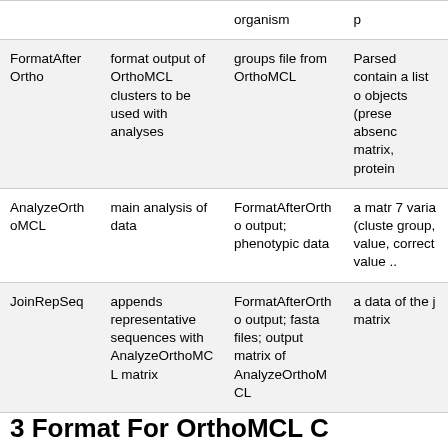| Function | Description | Input | Output |
| --- | --- | --- | --- |
| FormatAfterOrtho | format output of OrthoMCL clusters to be used with analyses | groups file from OrthoMCL | Parsed contain a list o objects (prese absenc matrix, protein |
| AnalyzeOrthoMCL | main analysis of data | FormatAfterOrtho output; phenotypic data | a matr 7 varia (cluste group, value, correct value .. |
| JoinRepSeq | appends representative sequences with AnalyzeOrthoMCL matrix | FormatAfterOrtho output; fasta files; output matrix of AnalyzeOrthoMCL | a data of the j matrix |
3 Format For OrthoMCL C...